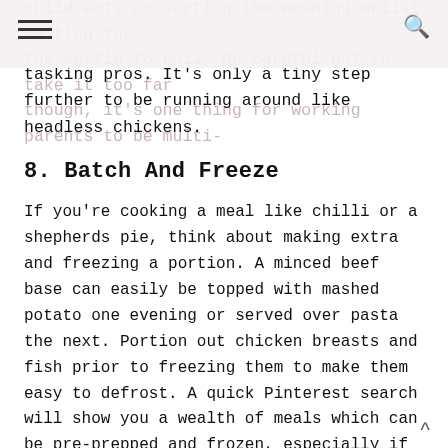child eats or sorting the washing whilst waiting for the kettle to boil. Be careful not to take it too far though, it's one thing for working parents to be multi-tasking pros. It's only a tiny step further to be running around like headless chickens.
8. Batch And Freeze
If you're cooking a meal like chilli or a shepherds pie, think about making extra and freezing a portion. A minced beef base can easily be topped with mashed potato one evening or served over pasta the next. Portion out chicken breasts and fish prior to freezing them to make them easy to defrost. A quick Pinterest search will show you a wealth of meals which can be pre-prepped and frozen, especially if you're cracking out the slow cooker. Finally, if you get the time, slice things like peppers and onions in bulk and freeze in bags ready for throwing in to a stir-fry or a curry.